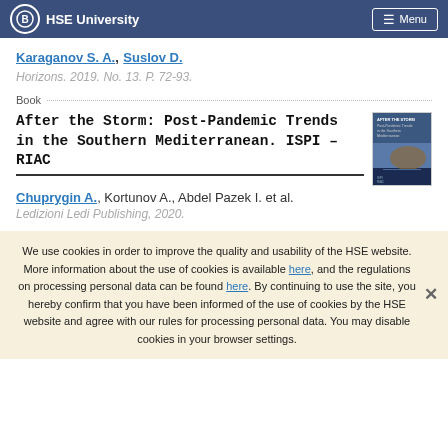HSE University  Menu
Karaganov S. A., Suslov D.
Horizons. 2019. No. 13. P. 72-93.
Book
After the Storm: Post-Pandemic Trends in the Southern Mediterranean. ISPI – RIAC
Chuprygin A., Kortunov A., Abdel Pazek I. et al.
Ledizioni Ledi Publishing, 2020.
We use cookies in order to improve the quality and usability of the HSE website. More information about the use of cookies is available here, and the regulations on processing personal data can be found here. By continuing to use the site, you hereby confirm that you have been informed of the use of cookies by the HSE website and agree with our rules for processing personal data. You may disable cookies in your browser settings.